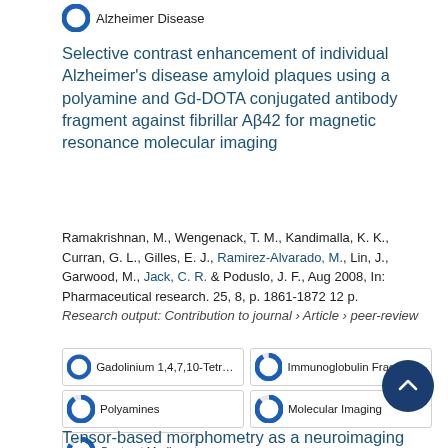Alzheimer Disease
Selective contrast enhancement of individual Alzheimer's disease amyloid plaques using a polyamine and Gd-DOTA conjugated antibody fragment against fibrillar Aβ42 for magnetic resonance molecular imaging
Ramakrishnan, M., Wengenack, T. M., Kandimalla, K. K., Curran, G. L., Gilles, E. J., Ramirez-Alvarado, M., Lin, J., Garwood, M., Jack, C. R. & Poduslo, J. F., Aug 2008, In: Pharmaceutical research. 25, 8, p. 1861-1872 12 p.
Research output: Contribution to journal › Article › peer-review
Gadolinium 1,4,7,10-Tetraazacy
Immunoglobulin Fragments
Polyamines
Molecular Imaging
Contrast Medium
Tensor-based morphometry as a neuroimaging